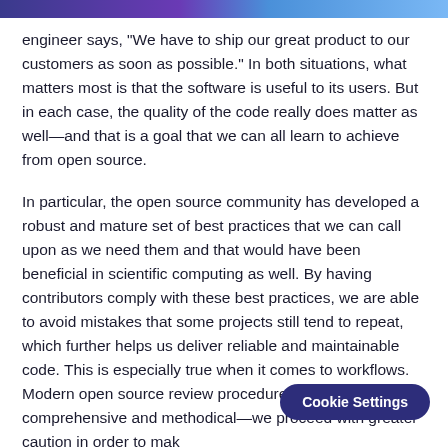engineer says, "We have to ship our great product to our customers as soon as possible." In both situations, what matters most is that the software is useful to its users. But in each case, the quality of the code really does matter as well—and that is a goal that we can all learn to achieve from open source.
In particular, the open source community has developed a robust and mature set of best practices that we can call upon as we need them and that would have been beneficial in scientific computing as well. By having contributors comply with these best practices, we are able to avoid mistakes that some projects still tend to repeat, which further helps us deliver reliable and maintainable code. This is especially true when it comes to workflows. Modern open source review procedures are comprehensive and methodical—we proceed with greater caution in order to make sure that what we send upstream is of a higher quality, and thereby bring